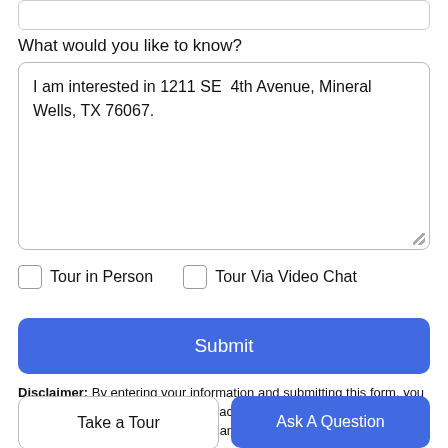What would you like to know?
I am interested in 1211 SE  4th Avenue, Mineral Wells, TX 76067.
Tour in Person
Tour Via Video Chat
Submit
Disclaimer: By entering your information and submitting this form, you agree to our Terms of Use and Privacy Policy and that you may be contacted by phone, text message and email about your inquiry.
Take a Tour
Ask A Question